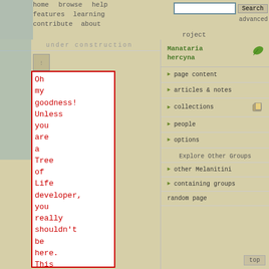home   browse   help   features   learning   contribute   about
advanced
roject
under construction
Oh my goodness! Unless you are a Tree of Life developer, you really shouldn't be here. This page is part of our beta test site, where
Manataria hercyna
page content
articles & notes
collections
people
options
Explore Other Groups
other Melanitini
containing groups
random page
top